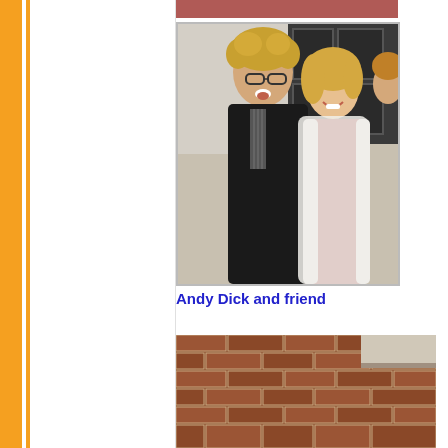[Figure (photo): Photo of Andy Dick and a female friend posing together at an event. Andy Dick has curly blond hair and glasses, wearing a black jacket. The woman has blonde hair and is wearing a red dress with a white fur coat.]
Andy Dick and friend
[Figure (photo): Partial photo showing a brick fireplace or brick wall interior setting.]